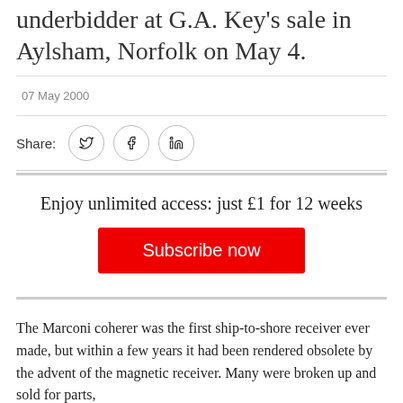underbidder at G.A. Key's sale in Aylsham, Norfolk on May 4.
07 May 2000
Share:
Enjoy unlimited access: just £1 for 12 weeks
Subscribe now
The Marconi coherer was the first ship-to-shore receiver ever made, but within a few years it had been rendered obsolete by the advent of the magnetic receiver. Many were broken up and sold for parts,